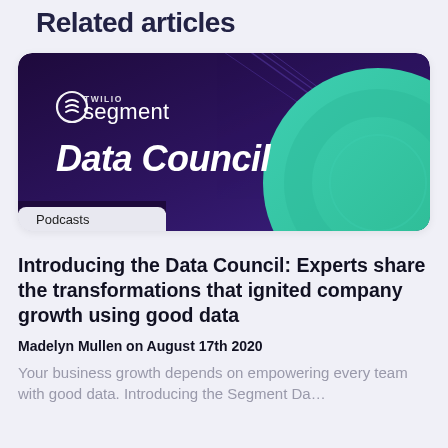Related articles
[Figure (illustration): Twilio Segment Data Council podcast banner — dark purple/violet gradient background with green circle geometric design, Twilio Segment logo and 'Data Council' bold text in white, 'Podcasts' tag at bottom left]
Introducing the Data Council: Experts share the transformations that ignited company growth using good data
Madelyn Mullen on August 17th 2020
Your business growth depends on empowering every team with good data. Introducing the Segment Da…